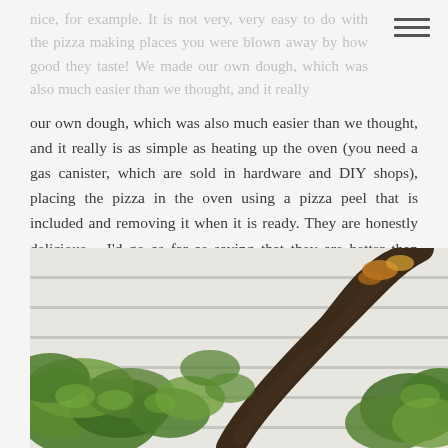nice, for example. It is not very, very easy to do with the pizza making places you were blown away by how good they taste! We made our own dough, which was also much easier than we thought, and it really
our own dough, which was also much easier than we thought, and it really is as simple as heating up the oven (you need a gas canister, which are sold in hardware and DIY shops), placing the pizza in the oven using a pizza peel that is included and removing it when it is ready. They are honestly delicious – I'd go as far as saying that they are better than most pizza restaurants I've been to.
[Figure (photo): Outdoor garden scene showing green ivy and climbing plants with a large tree branch against a white wooden slatted fence/wall background, photographed from below looking up.]